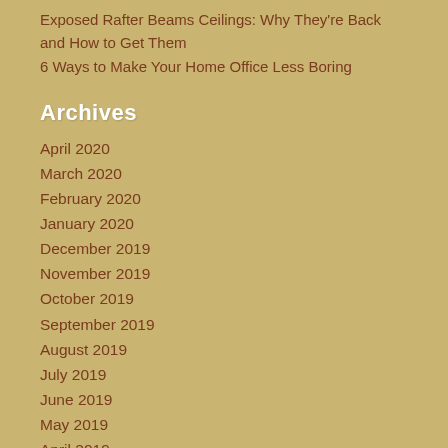Exposed Rafter Beams Ceilings: Why They're Back and How to Get Them
6 Ways to Make Your Home Office Less Boring
Archives
April 2020
March 2020
February 2020
January 2020
December 2019
November 2019
October 2019
September 2019
August 2019
July 2019
June 2019
May 2019
April 2019
March 2019
February 2019
January 2019